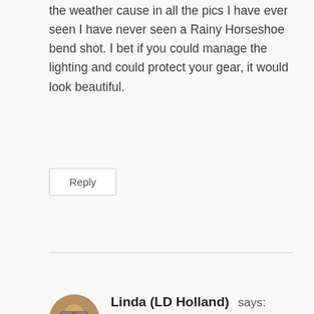the weather cause in all the pics I have ever seen I have never seen a Rainy Horseshoe bend shot. I bet if you could manage the lighting and could protect your gear, it would look beautiful.
Reply
[Figure (photo): Circular avatar photo of Linda (LD Holland), a person wearing sunglasses outdoors]
Linda (LD Holland) says:
December 29, 2020 at 8:28 pm
We were so glad we made the hike up to see Horseshoe Bend when we stay in Page.  We debated what was the right time of day to visit and settled on about mid-day for overhead sun.  We were there before the railing was installed.  But I